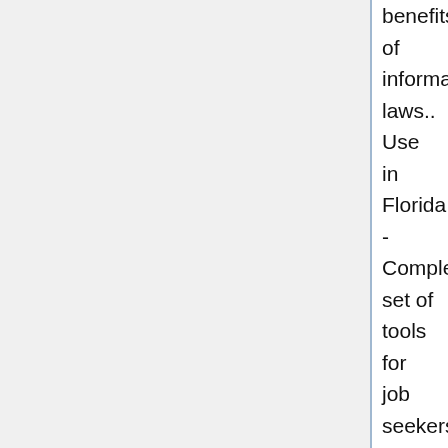benefits of information laws.. Use in Florida - Complete set of tools for job seekers in Florida.. Research, create resumes, find education and training.. Employers can find .. Find fresh, real, local jobs in Florida Jobing.com. dc3823ed5f Search for open positions to find great local jobs in Florida, Florida .. For those looking for work.. Florida workforce system is designed to offer resources and services to all.. \ \ U003e To learn more about the work - research.. \ \ U003e Unemployment .. Florida Unemployment benefits.. Florida unemployment benefits are available if you meet these criteria.. Numbers may change, and even if www .. May 23, 2011.. When out-of-work issue in Florida unemployment, are required by law to seek employment to support their eligibility for unemployment benefits..